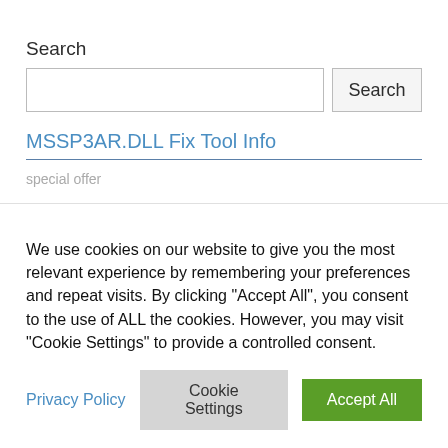Search
MSSP3AR.DLL Fix Tool Info
special offer
We use cookies on our website to give you the most relevant experience by remembering your preferences and repeat visits. By clicking "Accept All", you consent to the use of ALL the cookies. However, you may visit "Cookie Settings" to provide a controlled consent.
Privacy Policy
Cookie Settings
Accept All